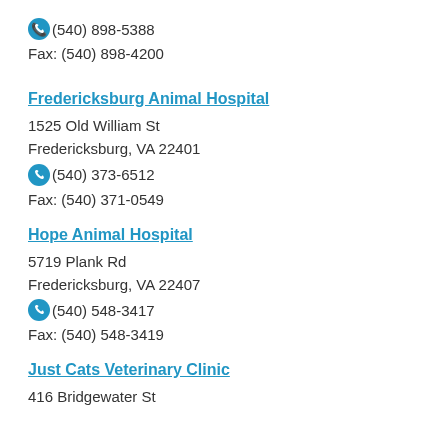(540) 898-5388
Fax: (540) 898-4200
Fredericksburg Animal Hospital
1525 Old William St
Fredericksburg, VA 22401
(540) 373-6512
Fax: (540) 371-0549
Hope Animal Hospital
5719 Plank Rd
Fredericksburg, VA 22407
(540) 548-3417
Fax: (540) 548-3419
Just Cats Veterinary Clinic
416 Bridgewater St